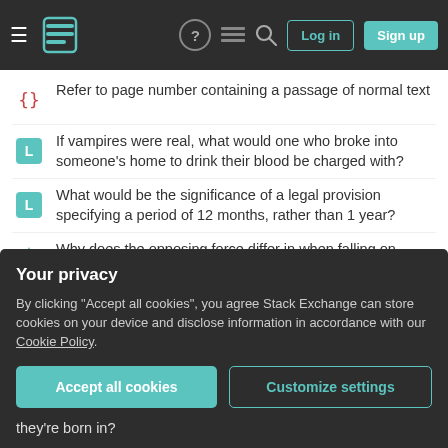Stack Exchange navigation bar with hamburger menu, logo, question mark, lines, search, Log in, Sign up buttons
Refer to page number containing a passage of normal text
If vampires were real, what would one who broke into someone's home to drink their blood be charged with?
What would be the significance of a legal provision specifying a period of 12 months, rather than 1 year?
Why does the opposing force differ in when falling on concrete vs on water in spite of Newton's third law?
What is the sealant around this shower arm, and should I replace it when I replace the arm?
What is the most likely cause for robots in a machine society to go "rogue"?
Your privacy
By clicking "Accept all cookies", you agree Stack Exchange can store cookies on your device and disclose information in accordance with our Cookie Policy.
Accept all cookies | Customize settings
they're born in?